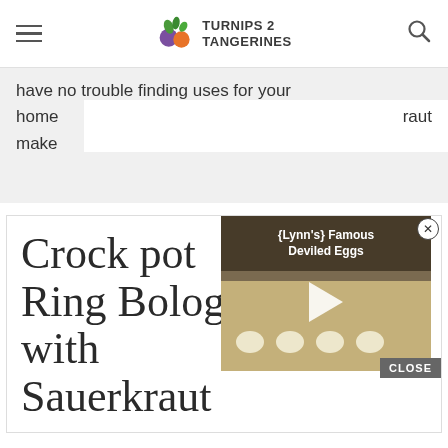Turnips 2 Tangerines
have no trouble finding uses for your home...raut make...
Crock pot Ring Bologna with Sauerkraut
[Figure (screenshot): Video thumbnail showing {Lynn's} Famous Deviled Eggs with a play button overlay and a CLOSE button]